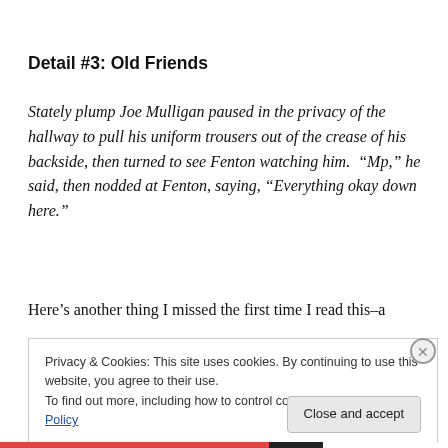Detail #3: Old Friends
Stately plump Joe Mulligan paused in the privacy of the hallway to pull his uniform trousers out of the crease of his backside, then turned to see Fenton watching him.  “Mp,” he said, then nodded at Fenton, saying, “Everything okay down here.”
Here’s another thing I missed the first time I read this–a
Privacy & Cookies: This site uses cookies. By continuing to use this website, you agree to their use.
To find out more, including how to control cookies, see here: Cookie Policy
Close and accept